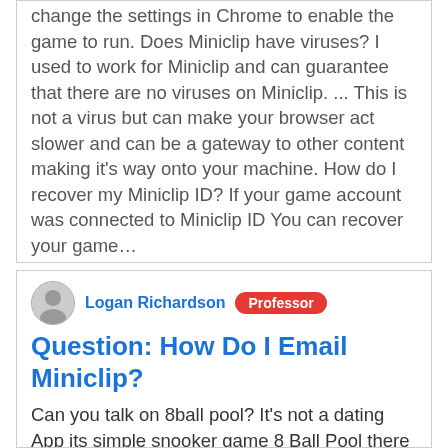change the settings in Chrome to enable the game to run. Does Miniclip have viruses? I used to work for Miniclip and can guarantee that there are no viruses on Miniclip. ... This is not a virus but can make your browser act slower and can be a gateway to other content making it's way onto your machine. How do I recover my Miniclip ID? If your game account was connected to Miniclip ID You can recover your game…
Logan Richardson
Professor
Question: How Do I Email Miniclip?
Can you talk on 8ball pool? It's not a dating App its simple snooker game 8 Ball Pool there is no option to chat or call other players so it cant be dating. Well when there